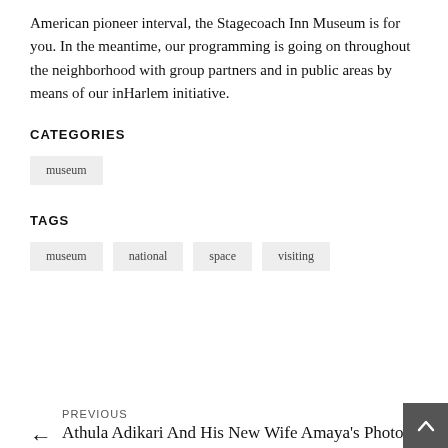American pioneer interval, the Stagecoach Inn Museum is for you. In the meantime, our programming is going on throughout the neighborhood with group partners and in public areas by means of our inHarlem initiative.
CATEGORIES
museum
TAGS
museum
national
space
visiting
PREVIOUS
Athula Adikari And His New Wife Amaya's Photos